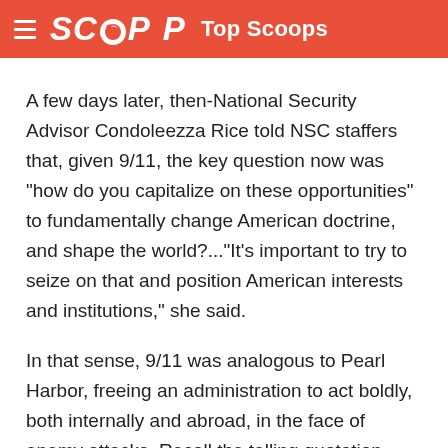SCOOP Top Scoops
A few days later, then-National Security Advisor Condoleezza Rice told NSC staffers that, given 9/11, the key question now was "how do you capitalize on these opportunities" to fundamentally change American doctrine, and shape the world?..."It's important to try to seize on that and position American interests and institutions," she said.
In that sense, 9/11 was analogous to Pearl Harbor, freeing an administration to act boldly, both internally and abroad, in the face of enemy attacks. Recall the telling quotation, referring to radical military reform,